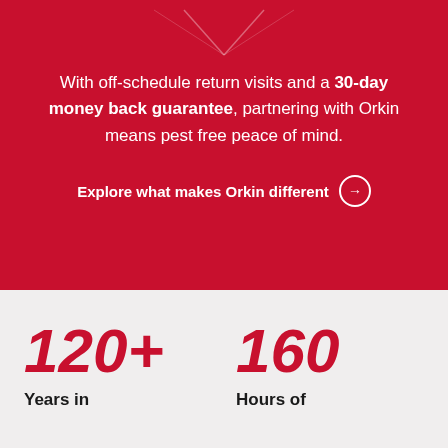[Figure (illustration): Heart-shaped chevron/divider SVG in red section indicating a section break]
With off-schedule return visits and a 30-day money back guarantee, partnering with Orkin means pest free peace of mind.
Explore what makes Orkin different →
120+ Years in
160 Hours of